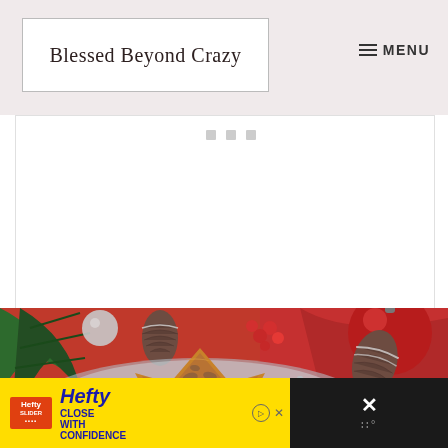Blessed Beyond Crazy
[Figure (screenshot): Advertisement placeholder area with three small gray squares]
[Figure (photo): Christmas-themed food photo showing a star-shaped nut-crusted cake on a plate, surrounded by pine cones, ornaments, pine branches, and red berries on a red background]
[Figure (screenshot): Hefty Slider advertisement banner with yellow background showing 'Hefty CLOSE WITH CONFIDENCE' text and a close/X button on the right side]